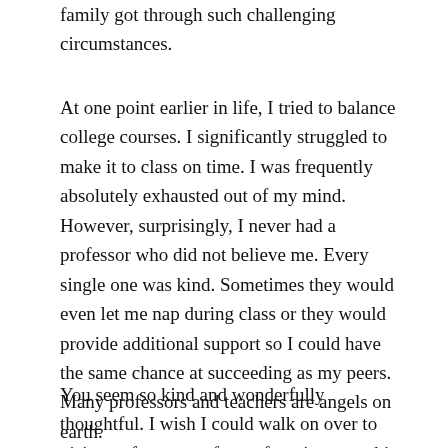family got through such challenging circumstances.
At one point earlier in life, I tried to balance college courses. I significantly struggled to make it to class on time. I was frequently absolutely exhausted out of my mind. However, surprisingly, I never had a professor who did not believe me. Every single one was kind. Sometimes they would even let me nap during class or they would provide additional support so I could have the same chance at succeeding as my peers. Many professors and teachers are angels on earth.
You seem so kind and wonderfully thoughtful. I wish I could walk on over to visit you for a cup of your favorite tea or bite of your favorite